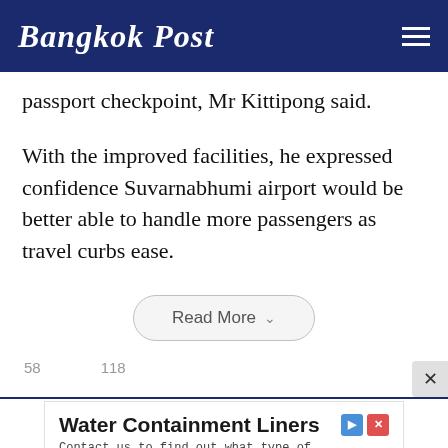Bangkok Post
passport checkpoint, Mr Kittipong said.
With the improved facilities, he expressed confidence Suvarnabhumi airport would be better able to handle more passengers as travel curbs ease.
Read More
58    118
[Figure (other): Advertisement for Water Containment Liners by Mustang Extreme with a Learn More button]